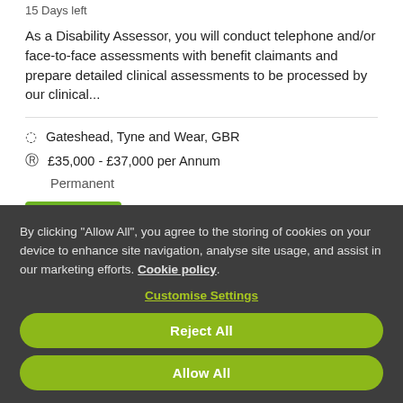15 Days left
As a Disability Assessor, you will conduct telephone and/or face-to-face assessments with benefit claimants and prepare detailed clinical assessments to be processed by our clinical...
Gateshead, Tyne and Wear, GBR
£35,000 - £37,000 per Annum
Permanent
Apply
By clicking "Allow All", you agree to the storing of cookies on your device to enhance site navigation, analyse site usage, and assist in our marketing efforts. Cookie policy.
Customise Settings
Reject All
Allow All